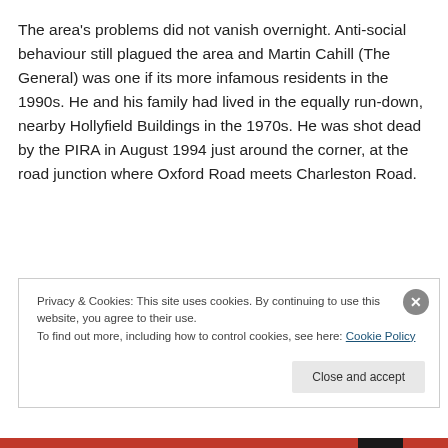The area's problems did not vanish overnight. Anti-social behaviour still plagued the area and Martin Cahill (The General) was one if its more infamous residents in the 1990s. He and his family had lived in the equally run-down, nearby Hollyfield Buildings in the 1970s. He was shot dead by the PIRA in August 1994 just around the corner, at the road junction where Oxford Road meets Charleston Road.
Privacy & Cookies: This site uses cookies. By continuing to use this website, you agree to their use. To find out more, including how to control cookies, see here: Cookie Policy